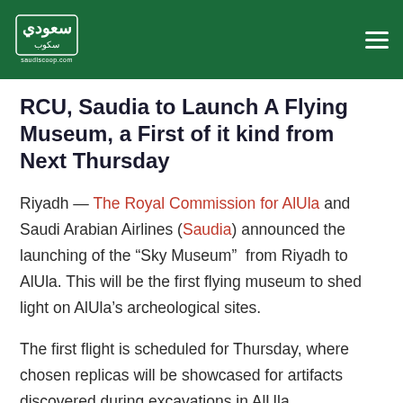[Figure (logo): saudiscoop.com logo: white Arabic calligraphy/emblem on dark green header bar with text 'saudiscoop.com' below]
RCU, Saudia to Launch A Flying Museum, a First of it kind from Next Thursday
Riyadh — The Royal Commission for AlUla and Saudi Arabian Airlines (Saudia) announced the launching of the “Sky Museum”  from Riyadh to AlUla. This will be the first flying museum to shed light on AlUla’s archeological sites.
The first flight is scheduled for Thursday, where chosen replicas will be showcased for artifacts discovered during excavations in AlUla.